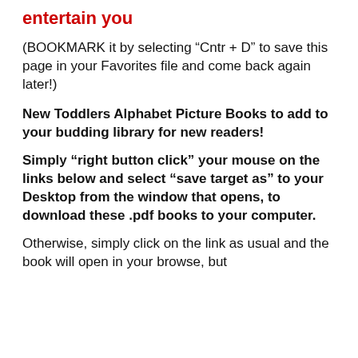entertain you
(BOOKMARK it by selecting “Cntr + D” to save this page in your Favorites file and come back again later!)
New Toddlers Alphabet Picture Books to add to your budding library for new readers!
Simply “right button click” your mouse on the links below and select “save target as” to your Desktop from the window that opens, to download these .pdf books to your computer.
Otherwise, simply click on the link as usual and the book will open in your browse, but